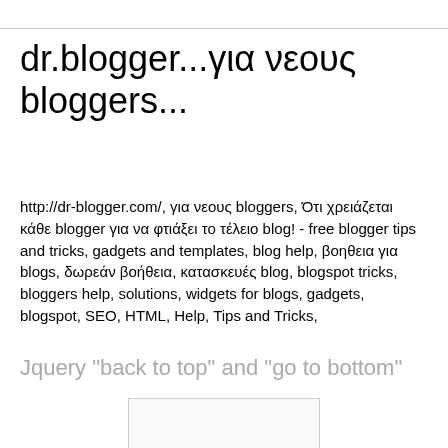dr.blogger...για νεους bloggers...
http://dr-blogger.com/, για νεους bloggers, Ότι χρειάζεται κάθε blogger για να φτιάξει το τέλειο blog! - free blogger tips and tricks, gadgets and templates, blog help, βοηθεια για blogs, δωρεάν βοήθεια, κατασκευές blog, blogspot tricks, bloggers help, solutions, widgets for blogs, gadgets, blogspot, SEO, HTML, Help, Tips and Tricks,
Jquery "back to top" and "go to bottom"
[Figure (other): Blank/empty image placeholder box]